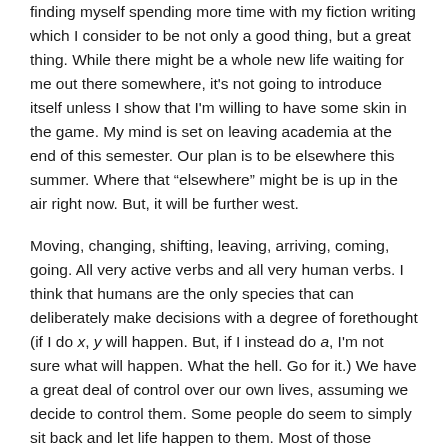finding myself spending more time with my fiction writing which I consider to be not only a good thing, but a great thing. While there might be a whole new life waiting for me out there somewhere, it's not going to introduce itself unless I show that I'm willing to have some skin in the game. My mind is set on leaving academia at the end of this semester. Our plan is to be elsewhere this summer. Where that “elsewhere” might be is up in the air right now. But, it will be further west.
Moving, changing, shifting, leaving, arriving, coming, going. All very active verbs and all very human verbs. I think that humans are the only species that can deliberately make decisions with a degree of forethought (if I do x, y will happen. But, if I instead do a, I'm not sure what will happen. What the hell. Go for it.) We have a great deal of control over our own lives, assuming we decide to control them. Some people do seem to simply sit back and let life happen to them. Most of those people